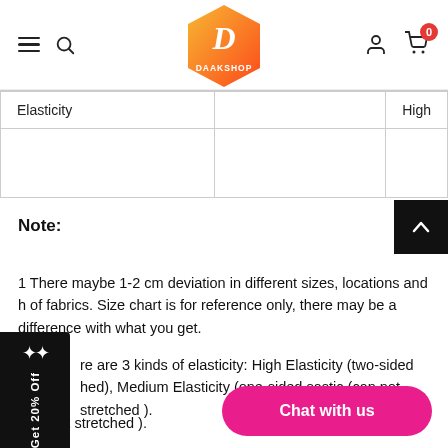[Figure (screenshot): Daakshop website header with hamburger menu, search icon, hexagonal gradient logo, user icon, and cart icon with badge showing 0]
| Elasticity |  | High |
|  |  |  |
Note:
1 There maybe 1-2 cm deviation in different sizes, locations and h of fabrics. Size chart is for reference only, there may be a difference with what you get.
re are 3 kinds of elasticity: High Elasticity (two-sided hed), Medium Elasticity (one-sided s astic (can not stretched ).